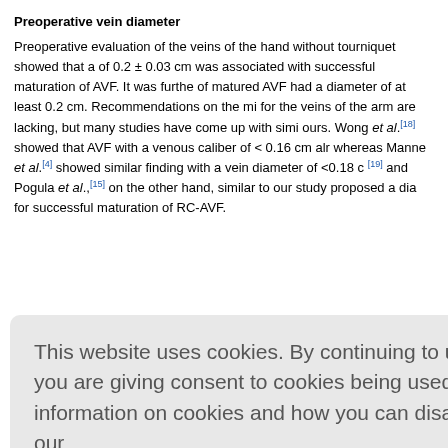Preoperative vein diameter
Preoperative evaluation of the veins of the hand without tourniquet showed that a diameter of 0.2 ± 0.03 cm was associated with successful maturation of AVF. It was further noted that 97% of matured AVF had a diameter of at least 0.2 cm. Recommendations on the minimum vein diameter for the veins of the arm are lacking, but many studies have come up with similar results to ours. Wong et al.[18] showed that AVF with a venous caliber of < 0.16 cm almost always failed, whereas Manne et al.[4] showed similar finding with a vein diameter of <0.18 cm. Sedlacek et al.[19] and Pogula et al.,[15] on the other hand, similar to our study proposed a diameter of 0.2 cm for successful maturation of RC-AVF.
This website uses cookies. By continuing to use this website you are giving consent to cookies being used. For information on cookies and how you can disable them visit our Privacy and Cookie Policy. AGREE & PROCEED
ved that a m er it was se n the minim esults. A stu d higher AVF ery diameter coherence a low failu